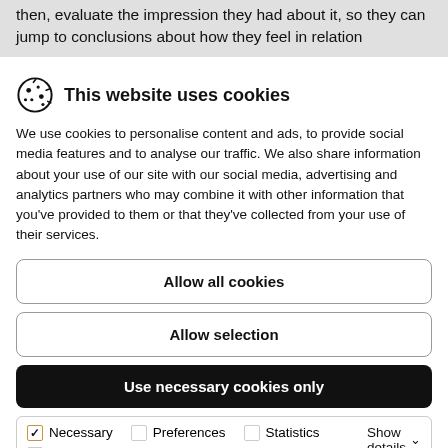then, evaluate the impression they had about it, so they can jump to conclusions about how they feel in relation
This website uses cookies
We use cookies to personalise content and ads, to provide social media features and to analyse our traffic. We also share information about your use of our site with our social media, advertising and analytics partners who may combine it with other information that you've provided to them or that they've collected from your use of their services.
Allow all cookies
Allow selection
Use necessary cookies only
| ✓ Necessary | Preferences | Statistics | Show details ∨ |
| Marketing |  |  |  |